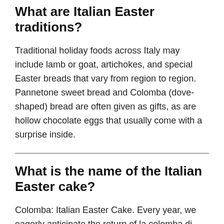What are Italian Easter traditions?
Traditional holiday foods across Italy may include lamb or goat, artichokes, and special Easter breads that vary from region to region. Pannetone sweet bread and Colomba (dove-shaped) bread are often given as gifts, as are hollow chocolate eggs that usually come with a surprise inside.
What is the name of the Italian Easter cake?
Colomba: Italian Easter Cake. Every year, we eagerly anticipate the return of la colomba di Pasqua, or the "Easter dove." In Italy, this artisanal cake is a sweet